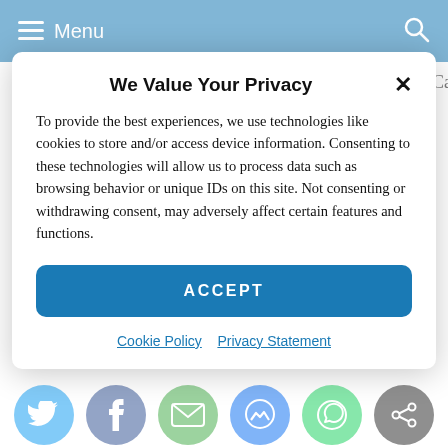Menu
“%userprofile%\AppData\Local\Microsoft\Windows\WebCache” “%drive%\IE10\%computername% –
We Value Your Privacy
To provide the best experiences, we use technologies like cookies to store and/or access device information. Consenting to these technologies will allow us to process data such as browsing behavior or unique IDs on this site. Not consenting or withdrawing consent, may adversely affect certain features and functions.
ACCEPT
Cookie Policy   Privacy Statement
UK
Extracting Evidence from Destroyed Skype Logs and
[Figure (other): Social sharing icons row: Twitter, Facebook, Email, Messenger, WhatsApp, Share]